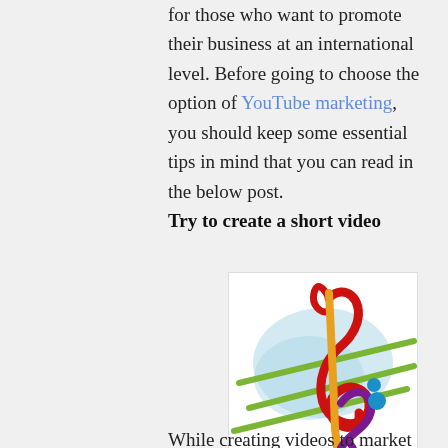for those who want to promote their business at an international level. Before going to choose the option of YouTube marketing, you should keep some essential tips in mind that you can read in the below post.
Try to create a short video
[Figure (illustration): Colorful treble and bass clef music notes illustration with green diagonal lines and light blue splashes on white background]
While creating videos to market your